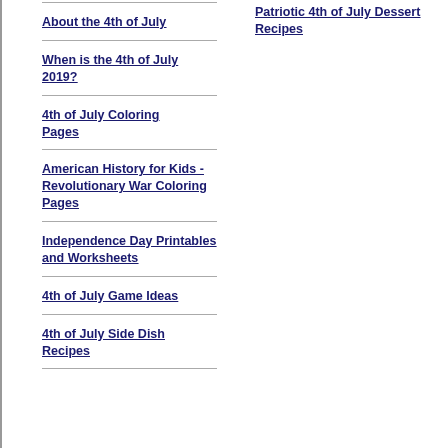About the 4th of July
When is the 4th of July 2019?
4th of July Coloring Pages
American History for Kids - Revolutionary War Coloring Pages
Independence Day Printables and Worksheets
4th of July Game Ideas
4th of July Side Dish Recipes
Patriotic 4th of July Dessert Recipes